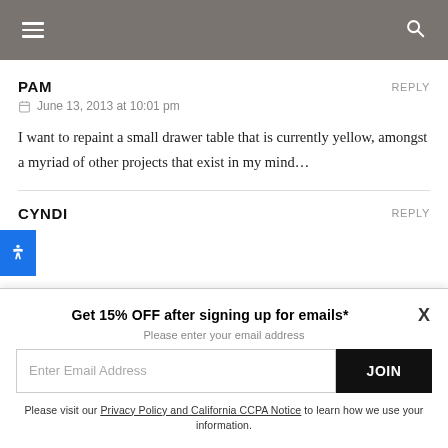Navigation header with menu and search icons
PAM
June 13, 2013 at 10:01 pm
I want to repaint a small drawer table that is currently yellow, amongst a myriad of other projects that exist in my mind…
CYNDI
Get 15% OFF after signing up for emails*
Please enter your email address
Enter Email Address
JOIN
Please visit our Privacy Policy and California CCPA Notice to learn how we use your information.